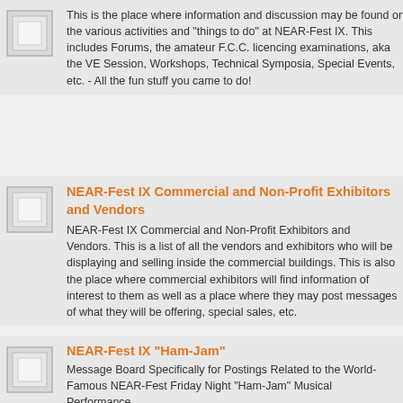This is the place where information and discussion may be found on the various activities and "things to do" at NEAR-Fest IX. This includes Forums, the amateur F.C.C. licencing examinations, aka the VE Session, Workshops, Technical Symposia, Special Events, etc. - All the fun stuff you came to do!
NEAR-Fest IX Commercial and Non-Profit Exhibitors and Vendors
NEAR-Fest IX Commercial and Non-Profit Exhibitors and Vendors. This is a list of all the vendors and exhibitors who will be displaying and selling inside the commercial buildings. This is also the place where commercial exhibitors will find information of interest to them as well as a place where they may post messages of what they will be offering, special sales, etc.
NEAR-Fest IX "Ham-Jam"
Message Board Specifically for Postings Related to the World-Famous NEAR-Fest Friday Night "Ham-Jam" Musical Performance.
Near-Fest Forum » NEAR-Fest Archives - Message Boards and Posting from Previous E...